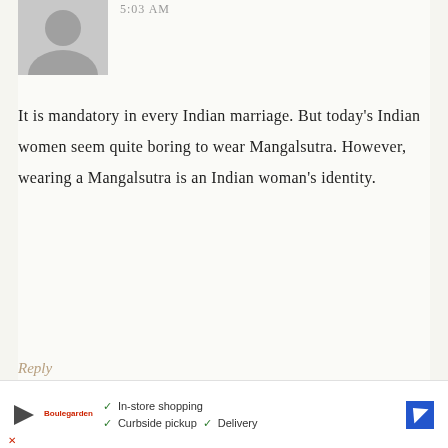[Figure (illustration): Gray silhouette avatar of a person (default user profile image)]
5:03 AM
It is mandatory in every Indian marriage. But today's Indian women seem quite boring to wear Mangalsutra. However, wearing a Mangalsutra is an Indian woman's identity.
Reply
[Figure (illustration): Gray rectangle placeholder for next comment avatar]
PROTECTED says
[Figure (screenshot): Advertisement bar: In-store shopping, Curbside pickup, Delivery]